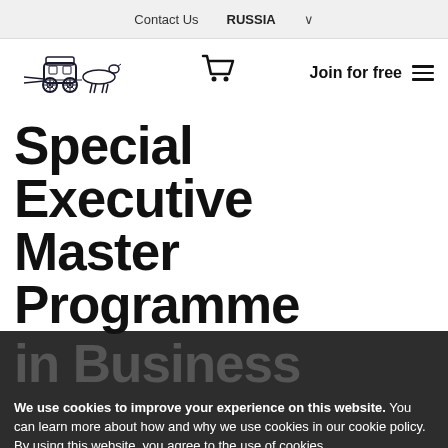Contact Us   RUSSIA ˅
[Figure (logo): Horse-drawn carriage logo illustration in dark ink]
Join for free ☰
Special Executive Master Programme in Business
We use cookies to improve your experience on this website. You can learn more about how and why we use cookies in our cookie policy. By using this website, you agree to the use of cookies.
Accept and Close ✕
Your browser settings do not allow cross-site tracking for advertising. Click on this page to allow AdRoll to use cross-site tracking to tailor ads to you. Learn more or opt out of this AdRoll tracking by clicking here. This message only appears once.